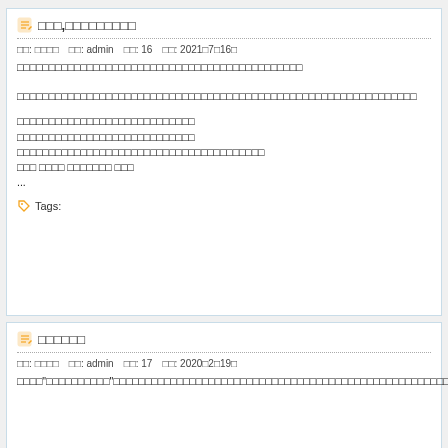□□□,□□□□□□□□□
□□: □□□□  □□: admin  □□: 16  □□: 2021□7□16□
□□□□□□□□□□□□□□□□□□□□□□□□□□□□□□□□□□□□□□□□□□□□□
□□□□□□□□□□□□□□□□□□□□□□□□□□□□□□□□□□□□□□□□□□□□□□□□□□□□□□□□□□□□□□□
□□□□□□□□□□□□□□□□□□□□□□□□□□□□
□□□□□□□□□□□□□□□□□□□□□□□□□□□□
□□□□□□□□□□□□□□□□□□□□□□□□□□□□□□□□□□□□□□□
□□□ □□□□ □□□□□□□ □□□
...
🏷 Tags:
□□□□□□
□□: □□□□  □□: admin  □□: 17  □□: 2020□2□19□
□□□□"□□□□□□□□□□"□□□□□□□□□□□□□□□□□□□□□□□□□□□□□□□□□□□□□□□□□□□□□□□□□□□□□□□□□□□□□□□□□□□□□□□□□□□□□□□□□□□□□□□□□□□□□□□□□□□□□□□□□□□□□□□□□□□□□□□□□□□□□□□□□□□□□□□□□□□□□□□□□□□□□□□□□□□□□□□□□□□□□□□□□□□□□□□□□T□□□□□□□□□□□□□□□□□□□□□□□□□□□□□□□□□□□□□□□□□□□□□□□□□□□□□□□□□□□□□□□□□□□□□□□□□□□□□□□□□□□□□□